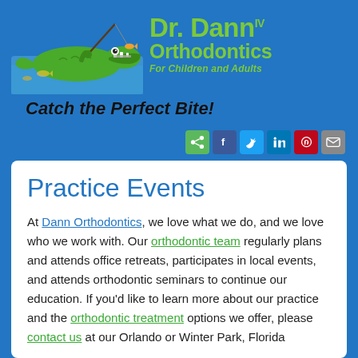[Figure (logo): Dr. Dann IV Orthodontics logo featuring a cartoon alligator fishing with text 'Dr. Dann IV Orthodontics For Children and Adults' and tagline 'Catch the Perfect Bite!']
[Figure (infographic): Social sharing buttons row: share (green), Facebook (blue), Twitter (light blue), LinkedIn (blue), Pinterest (red), email (gray)]
Practice Events
At Dann Orthodontics, we love what we do, and we love who we work with. Our orthodontic team regularly plans and attends office retreats, participates in local events, and attends orthodontic seminars to continue our education. If you'd like to learn more about our practice and the orthodontic treatment options we offer, please contact us at our Orlando or Winter Park, Florida